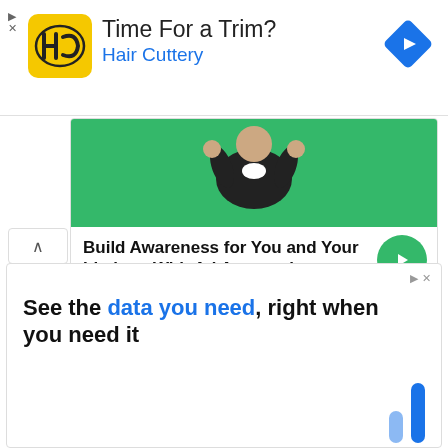[Figure (screenshot): Hair Cuttery ad banner with yellow logo showing HC initials, headline 'Time For a Trim?', subtitle 'Hair Cuttery' in blue, and blue diamond navigation icon]
[Figure (screenshot): Homespotter ad card with green banner image showing person in dark clothing, headline 'Build Awareness for You and Your Listings With Ad Automation.', URL 'homespotter.com', green circle arrow button]
[Figure (screenshot): Twitter Tweet button and More share button]
[Figure (screenshot): Second ad banner with text: 'See the data you need, right when you need it' with 'data you need' in blue, and partial bar chart graphic in bottom right]